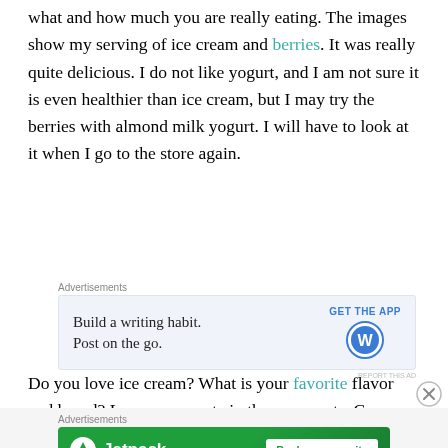what and how much you are really eating. The images show my serving of ice cream and berries. It was really quite delicious. I do not like yogurt, and I am not sure it is even healthier than ice cream, but I may try the berries with almond milk yogurt. I will have to look at it when I go to the store again.
[Figure (screenshot): WordPress advertisement: 'Build a writing habit. Post on the go.' with GET THE APP button and WordPress logo on a light blue background]
Do you love ice cream? What is your favorite flavor and brand? Leave me a note in the comments. Come back tomorrow to learn about my next food challenge. Don't
[Figure (screenshot): Jetpack advertisement: 'Back up your site' on a green background with Jetpack logo]